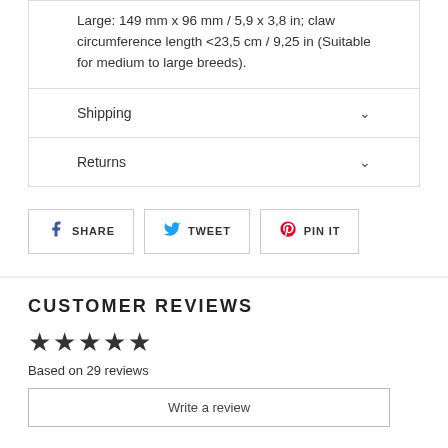Large: 149 mm x 96 mm / 5,9 x 3,8 in; claw circumference length <23,5 cm / 9,25 in (Suitable for medium to large breeds).
Shipping
Returns
SHARE | TWEET | PIN IT
CUSTOMER REVIEWS
★★★★★
Based on 29 reviews
Write a review